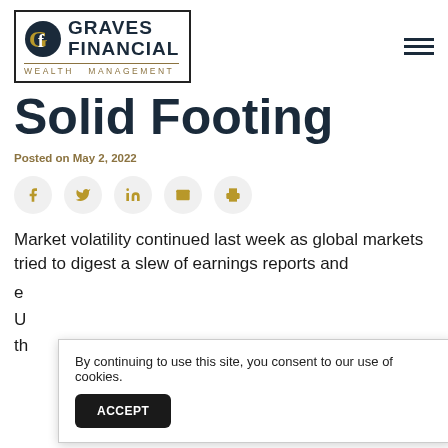[Figure (logo): Graves Financial Wealth Management logo with bordered box, stylized G icon, and gold/navy typography]
Solid Footing
Posted on May 2, 2022
[Figure (infographic): Social sharing buttons row: Facebook (f), Twitter (y), LinkedIn (in), Email (envelope), Print (printer) — all gold icons on light grey circular buttons]
Market volatility continued last week as global markets tried to digest a slew of earnings reports and
By continuing to use this site, you consent to our use of cookies.
ACCEPT